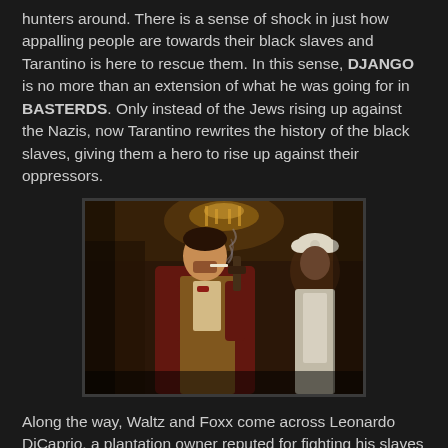hunters around. There is a sense of shock in just how appalling people are towards their black slaves and Tarantino is here to rescue them. In this sense, DJANGO is no more than an extension of what he was going for in BASTERDS. Only instead of the Jews rising up against the Nazis, now Tarantino rewrites the history of the black slaves, giving them a hero to rise up against their oppressors.
[Figure (photo): A man in a burgundy/maroon suit jacket and ornate vest holding a gun, smoking a cigarette, in what appears to be a lavishly decorated interior setting. A woman in a white bow headpiece is visible in the background. Scene from the movie Django Unchained.]
Along the way, Waltz and Foxx come across Leonardo DiCaprio, a plantation owner reputed for fighting his slaves to their deaths. This man owns Django's wife (Kerry Washington). And when it comes time for Django to take back what is his (which is a whole other form of slavery, but